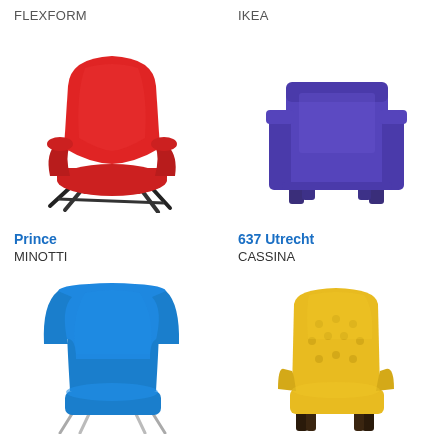FLEXFORM
[Figure (illustration): Red upholstered armchair (Prince by Minotti) with black metal legs, shown in 3/4 view on white background]
IKEA
[Figure (illustration): Purple/violet boxy armchair (637 Utrecht by Cassina) with thick arms and short legs, shown in 3/4 view on white background]
Prince
MINOTTI
637 Utrecht
CASSINA
[Figure (illustration): Blue high-back wing armchair with chrome legs, shown on white background]
[Figure (illustration): Yellow tufted high-back armchair with dark wooden legs, shown on white background]